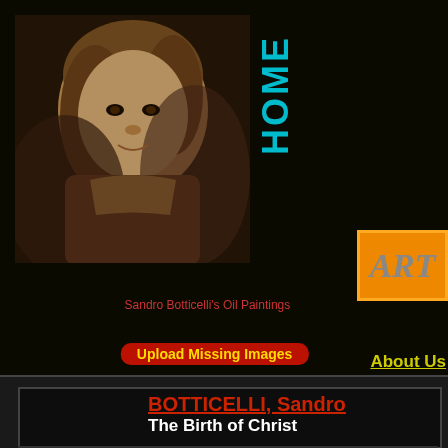[Figure (screenshot): Screenshot of a website about Sandro Botticelli's oil paintings. Dark black background with navigation, portrait image, HOME text vertically, ART button, Upload Missing Images button, decorative divider, large site title 'Sandro Botticelli.c', 'Non-Profits for...' banner, and an article box with 'BOTTICELLI, Sandro' and 'The Birth of Christ']
HOME
Sandro Botticelli's Oil Paintings
Upload Missing Images
ART
About Us
Sandro Botticelli.c
Non-Profits for
BOTTICELLI, Sandro
The Birth of Christ